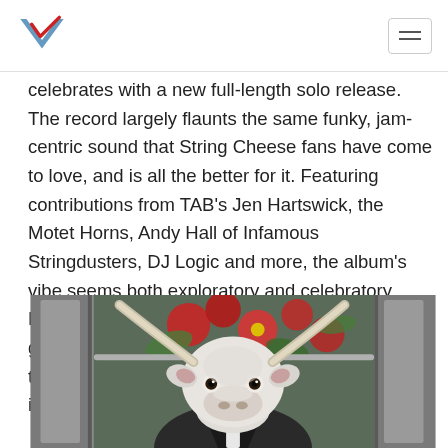[Logo: V with red checkmark / hamburger menu]
celebrates with a new full-length solo release. The record largely flaunts the same funky, jam-centric sound that String Cheese fans have come to love, and is all the better for it. Featuring contributions from TAB's Jen Hartswick, the Motet Horns, Andy Hall of Infamous Stringdusters, DJ Logic and more, the album's vibe seems both exploratory and celebratory, Hollingsworth consistently proving that he's still got it. With top notch musicianship throughout, these clean, smooth jams will need to make it into your life.
[Figure (photo): A white bull/longhorn with large horns appears to be sitting inside a train or subway car, looking directly at the camera. There are red flowers visible through the window behind it, and the animal appears to be wearing a dark suit jacket.]